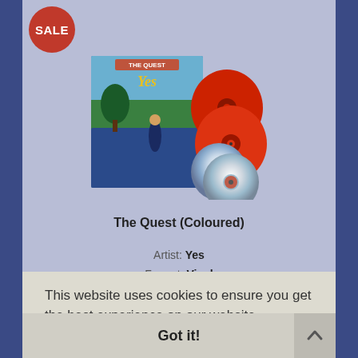[Figure (illustration): Red circle sale badge in top-left corner with white text SALE]
[Figure (photo): Album cover for The Quest (Coloured) by Yes, showing coloured vinyl records and CD alongside the album artwork with blue/green fantasy landscape]
The Quest (Coloured)
Artist: Yes
Format: Vinyl
The Quest is the 2021 studio album from legendary prog rock supergroup. Plus it comes, Book cont of...
This website uses cookies to ensure you get the best experience on our website.
Learn more
Got it!